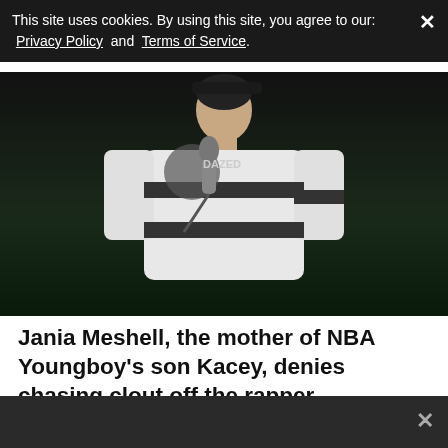This site uses cookies. By using this site, you agree to our: Privacy Policy and Terms of Service.
[Figure (photo): A person wearing a white jersey with black stripes holding a microphone, photographed against a dark green background.]
Jania Meshell, the mother of NBA Youngboy's son Kacey, denies chasing clout off the rapper.
Youngboy Never Broke Again's life has been highlighted on social media with numerous women showing him off and becoming famous as a result. Jania Meshell is one of those women, blowing
×